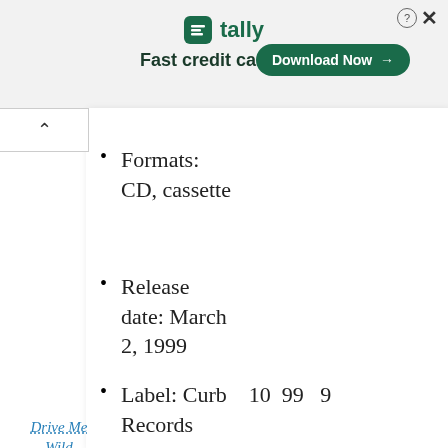[Figure (other): Tally app advertisement banner with logo, tagline 'Fast credit card payoff', and 'Download Now' button]
Formats: CD, cassette
Release date: March 2, 1999
Label: Curb Records   10  99  9
Drive Me Wild
Formats: CD, cassette